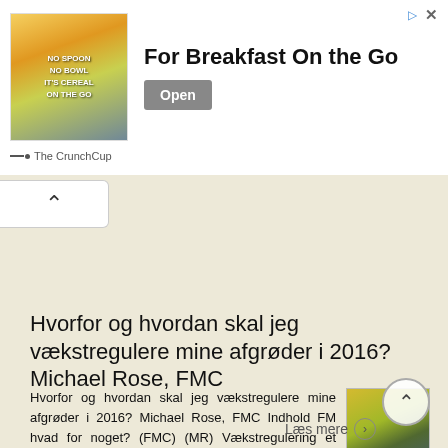[Figure (advertisement): Advertisement banner for The CrunchCup cereal product. Shows product image on left with text 'NO SPOON NO BOWL IT'S CEREAL ON THE GO'. Main ad text reads 'For Breakfast On the Go' with an 'Open' button. Attribution shows 'The CrunchCup'.]
Hvorfor og hvordan skal jeg vækstregulere mine afgrøder i 2016? Michael Rose, FMC
Hvorfor og hvordan skal jeg vækstregulere mine afgrøder i 2016? Michael Rose, FMC Indhold FM hvad for noget? (FMC) (MR) Vækstregulering et fyord? Hvorfor er lejesæd uønsket Dyrkningsmæssige valg kan få
Læs mere